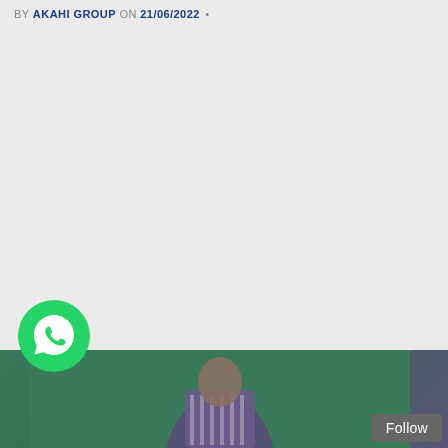BY AKAHI GROUP ON 21/06/2022 •
[Figure (illustration): WhatsApp contact button — green circle with white phone handset icon]
[Figure (photo): Bottom strip showing a partially visible person wearing purple and striped clothing against a green/teal background with a Follow button overlay]